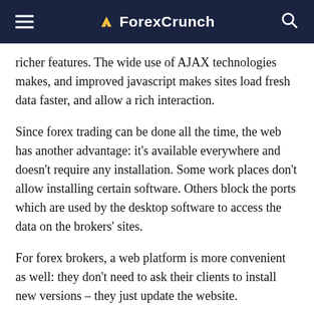ForexCrunch
richer features. The wide use of AJAX technologies makes, and improved javascript makes sites load fresh data faster, and allow a rich interaction.
Since forex trading can be done all the time, the web has another advantage: it's available everywhere and doesn't require any installation. Some work places don't allow installing certain software. Others block the ports which are used by the desktop software to access the data on the brokers' sites.
For forex brokers, a web platform is more convenient as well: they don't need to ask their clients to install new versions – they just update the website.
So, with richer Internet sites, and with forex trading growing, I'm expecting that more and more forex traders will move to the web.